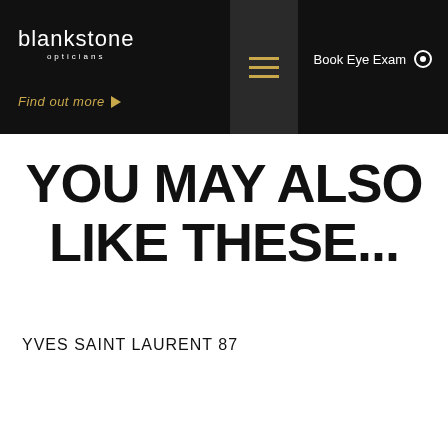blankstone opticians
Find out more →
YOU MAY ALSO LIKE THESE...
YVES SAINT LAURENT 87